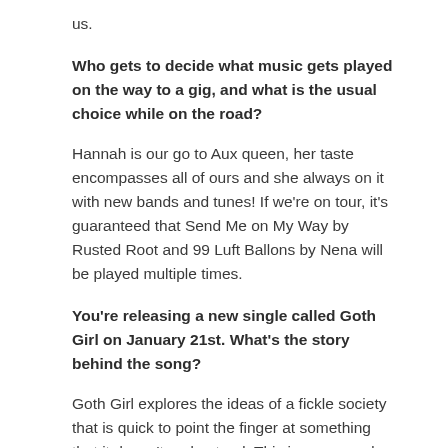us.
Who gets to decide what music gets played on the way to a gig, and what is the usual choice while on the road?
Hannah is our go to Aux queen, her taste encompasses all of ours and she always on it with new bands and tunes! If we're on tour, it's guaranteed that Send Me on My Way by Rusted Root and 99 Luft Ballons by Nena will be played multiple times.
You're releasing a new single called Goth Girl on January 21st. What's the story behind the song?
Goth Girl explores the ideas of a fickle society that is quick to point the finger at something that it doesn't understand. This is expressed through a story of two friends hanging out and eventually realizing their mutual struggles for their choice of clothes and makeup. Goth Girl is inspired by the struggles and strange interpretations of counter culture like Goths and witches and how it's difficult